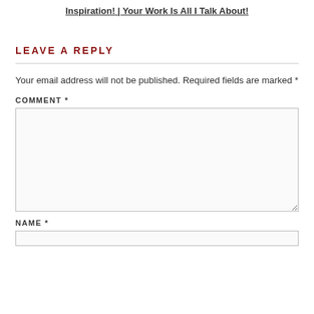Inspiration! | Your Work Is All I Talk About!
LEAVE A REPLY
Your email address will not be published. Required fields are marked *
COMMENT *
NAME *